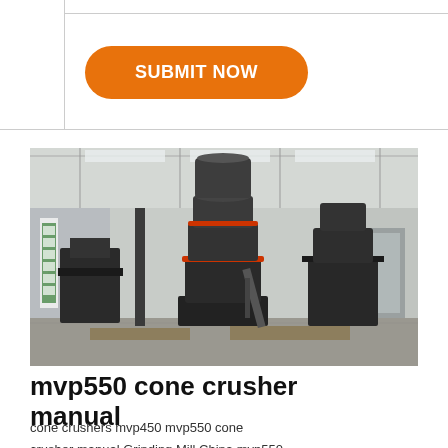| SUBMIT NOW |
[Figure (photo): Industrial grinding mill / cone crusher machinery photographed inside a large factory warehouse. Several large dark-grey vertical grinding mill machines are visible on a concrete floor, with red accent rings. The facility has a steel truss roof and natural lighting from skylights.]
mvp550 cone crusher manual
cone crushers mvp450 mvp550 cone crusher manual Grinding Mill China mvp550